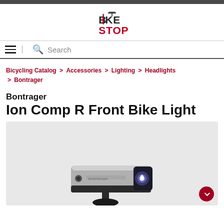Bike Stop
Search
Bicycling Catalog > Accessories > Lighting > Headlights > Bontrager
Bontrager Ion Comp R Front Bike Light
[Figure (photo): Photo of Bontrager Ion Comp R Front Bike Light, a silver and black bicycle headlight mounted on a handlebar mount, shown against a light grey background. The light has a blue-tinted lens on the right side.]